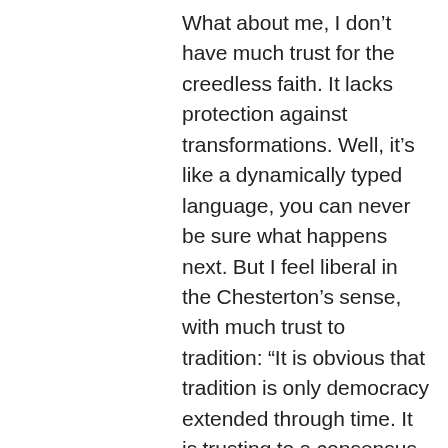What about me, I don't have much trust for the creedless faith. It lacks protection against transformations. Well, it's like a dynamically typed language, you can never be sure what happens next. But I feel liberal in the Chesterton's sense, with much trust to tradition: “It is obvious that tradition is only democracy extended through time. It is trusting to a consensus of common human voices rather than to some isolated or arbitrary record. The man who quotes some German historian against the tradition of the Catholic Church, for instance, is strictly appealing to aristocracy. He is appealing to the superiority of one expert against the awful authority of a mob. It is quite